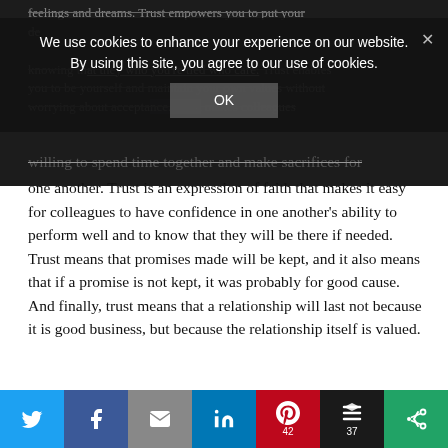feelings and dreams. Trust empowers you to put your de... knowing that they who you're tied who care. Trust enables you to be yourself and maintain your own values without worrying about acceptance. Trust makes colleagues
We use cookies to enhance your experience on our website. By using this site, you agree to our use of cookies.
willing to spend time together and make sacrifices for one another. Trust is an expression of faith that makes it easy for colleagues to have confidence in one another's ability to perform well and to know that they will be there if needed. Trust means that promises made will be kept, and it also means that if a promise is not kept, it was probably for good cause. And finally, trust means that a relationship will last not because it is good business, but because the relationship itself is valued.
Additional Reading: